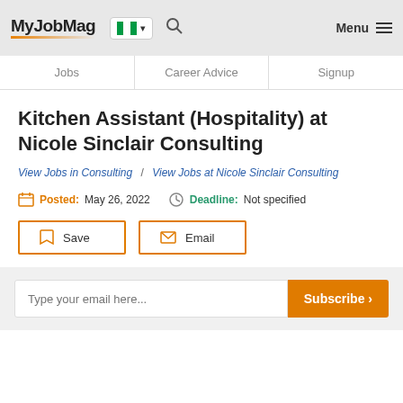MyJobMag — Jobs | Career Advice | Signup
Kitchen Assistant (Hospitality) at Nicole Sinclair Consulting
View Jobs in Consulting / View Jobs at Nicole Sinclair Consulting
Posted: May 26, 2022   Deadline: Not specified
Save   Email
Type your email here... Subscribe